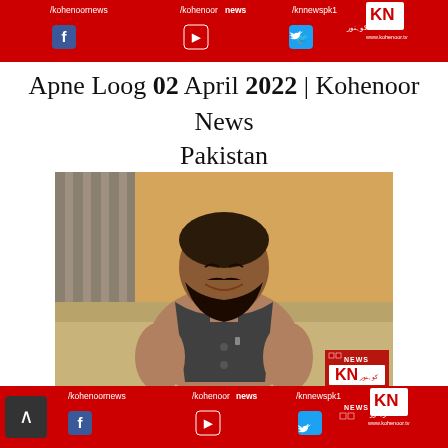[Figure (screenshot): Kohenoor News top banner with red background, social media handles /kohenoornews /kohenoor news /knnewspk1 and social media icons for Facebook, YouTube, Twitter, plus KN logo and www.kohenoor.tv]
Apne Loog 02 April 2022 | Kohenoor News Pakistan
[Figure (photo): A bearded man wearing a brown shalwar kameez with a dark vest sitting on a cream/tan sofa, smiling, with a striped cushion behind him and a yellow/orange wall in the background. Kohenoor News watermark in bottom corner.]
[Figure (screenshot): Kohenoor News bottom banner with red background, social media handles /kohenoornews /kohenoor news /knnewspk1 and social media icons for Facebook, YouTube, Twitter, plus KN logo and www.kohenoor.tv. Back/up arrow button on bottom left.]